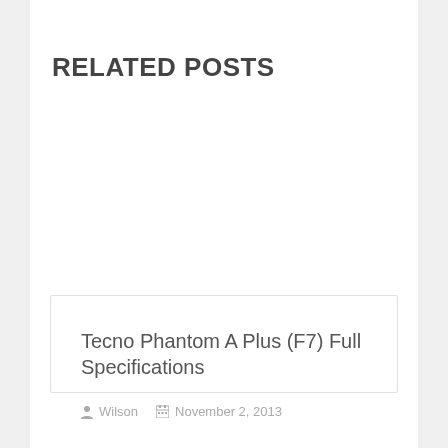RELATED POSTS
Tecno Phantom A Plus (F7) Full Specifications
Wilson  November 2, 2013